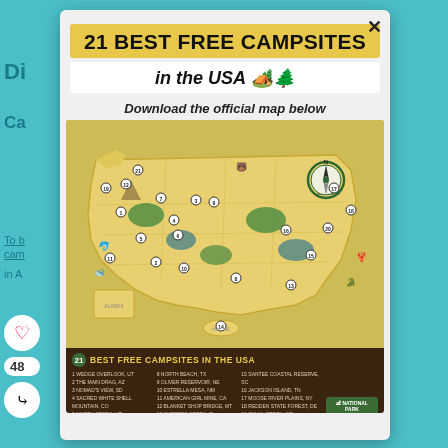21 BEST FREE CAMPSITES
in the USA 🏕️🌲
Download the official map below
[Figure (map): Illustrated map of the USA showing 21 numbered free campsite locations across the country, with illustrated icons of wildlife, trees, mountains, and activities at each site. A compass rose is visible in the upper right area.]
21 BEST FREE CAMPSITES IN THE USA — legend listing all 21 sites including: 1 Wedge Overlook, UT; 2 The Main Drag, AZ; 3 Nomad's View, SD; 4 Sacred White Shell Mountain, CO; 5 North Creek, UT; 6 Jackson Hole/Afton Road, CO; 7 Lake Hattie, WY; 8 North Beach, TX; 9 Oliver Reservoir, NE; 10 Estrella Mesa, NM; 11 American Girl Mine, CA; 12 Blanket Shop Bridge, MT; 13 Cypress Creek, FL; 14 Green Road, HI; 15 Santee Coastal Reserve, SC; 16 Jackson Island, TN; 17 Moose River Plains, NY; 18 Redden State Forest, DE; 19 Skull Creek, OR; 20 Whiteoak Camping Area, MD; 21 Lake Creek Road, ID